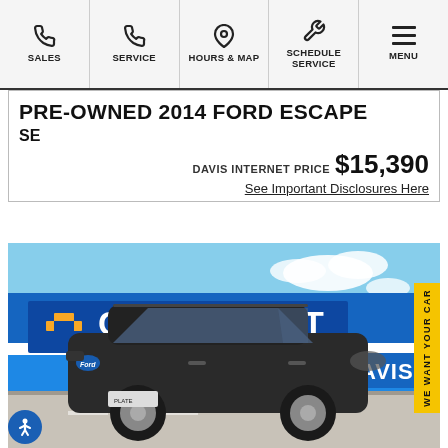SALES | SERVICE | HOURS & MAP | SCHEDULE SERVICE | MENU
PRE-OWNED 2014 FORD ESCAPE
SE
DAVIS INTERNET PRICE $15,390
See Important Disclosures Here
[Figure (photo): Dark gray 2014 Ford Escape SUV parked in front of a Chevrolet Davis dealership with blue signage and cloudy sky background. A yellow 'WE WANT YOUR CAR' side tab is visible on the right.]